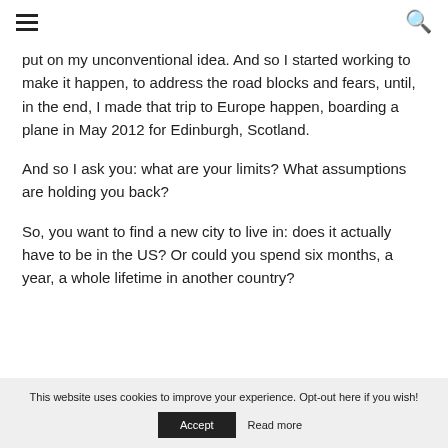≡  🔍
put on my unconventional idea. And so I started working to make it happen, to address the road blocks and fears, until, in the end, I made that trip to Europe happen, boarding a plane in May 2012 for Edinburgh, Scotland.
And so I ask you: what are your limits? What assumptions are holding you back?
So, you want to find a new city to live in: does it actually have to be in the US? Or could you spend six months, a year, a whole lifetime in another country?
This website uses cookies to improve your experience. Opt-out here if you wish!  Accept  Read more